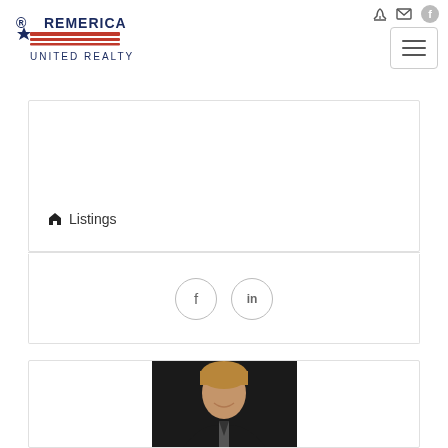Remerica United Realty
Listings
[Figure (screenshot): Social share icons: Facebook and LinkedIn circles]
[Figure (photo): Professional headshot of a middle-aged man in a dark suit with dark tie, smiling, against dark background]